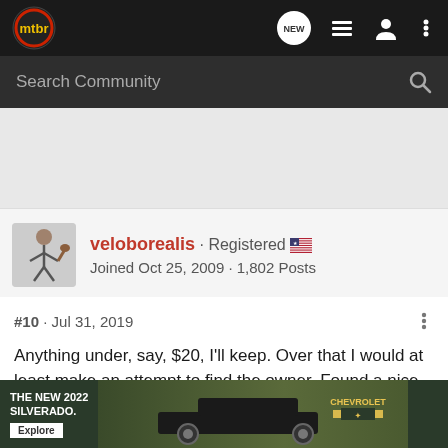[Figure (screenshot): MTBR community forum website navigation bar with logo, NEW chat icon, list icon, user icon, and more options icon]
[Figure (screenshot): Search Community search bar with magnifying glass icon]
[Figure (screenshot): Gray advertisement/content spacer area]
veloborealis · Registered 🇺🇸 Joined Oct 25, 2009 · 1,802 Posts
#10 · Jul 31, 2019
Anything under, say, $20, I'll keep. Over that I would at least make an attempt to find the owner. Found a nice windbreaker on the t... t no respons... It just
[Figure (screenshot): Advertisement for THE NEW 2022 SILVERADO Chevrolet truck with Explore button and truck image on dark green background]